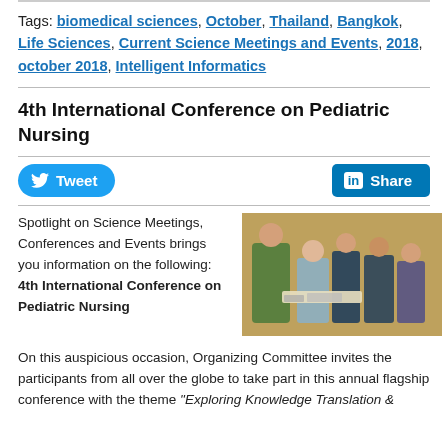Tags: biomedical sciences, October, Thailand, Bangkok, Life Sciences, Current Science Meetings and Events, 2018, october 2018, Intelligent Informatics
4th International Conference on Pediatric Nursing
[Figure (infographic): Twitter Tweet button (blue rounded) and LinkedIn Share button (blue square)]
Spotlight on Science Meetings, Conferences and Events brings you information on the following: 4th International Conference on Pediatric Nursing
[Figure (photo): Photo of people gathered at a science conference or lab event, with participants standing around a table with equipment]
On this auspicious occasion, Organizing Committee invites the participants from all over the globe to take part in this annual flagship conference with the theme "Exploring Knowledge Translation &